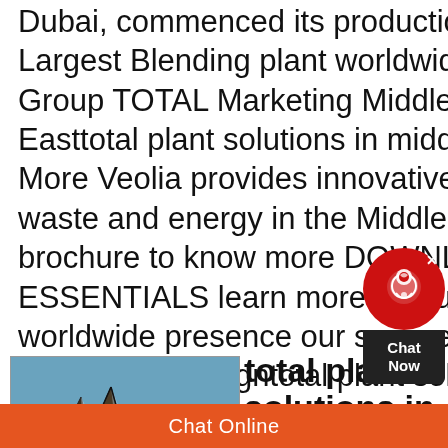Dubai, commenced its production in the year 2000 TLBO is the 3rd Largest Blending plant worldwide (capacity wise) within the Total Group TOTAL Marketing Middle EastTotal Plant Solutions In Middle Easttotal plant solutions in middle east Veolia Middle East Know More Veolia provides innovative environmental solutions in water waste and energy in the Middle East Download our corporate brochure to know more DOWNLOAD THE ESSENTIALS In the ESSENTIALS learn more on our mission our three activites our worldwide presence our services for cities our services for industries the new campaigntotal plant solutions in middle east wirenergiap|
[Figure (photo): Photo of industrial or architectural structures with angular roof forms against a blue sky]
total plant solutions in middle east
Chat Online